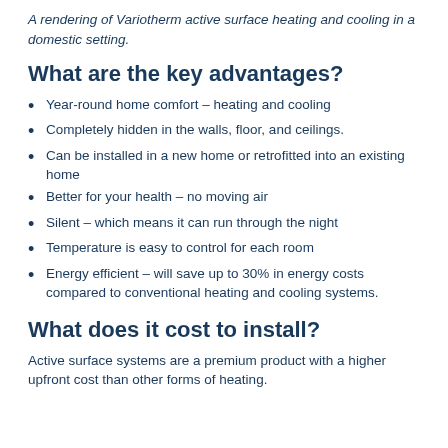A rendering of Variotherm active surface heating and cooling in a domestic setting.
What are the key advantages?
Year-round home comfort – heating and cooling
Completely hidden in the walls, floor, and ceilings.
Can be installed in a new home or retrofitted into an existing home
Better for your health – no moving air
Silent – which means it can run through the night
Temperature is easy to control for each room
Energy efficient – will save up to 30% in energy costs compared to conventional heating and cooling systems.
What does it cost to install?
Active surface systems are a premium product with a higher upfront cost than other forms of heating.